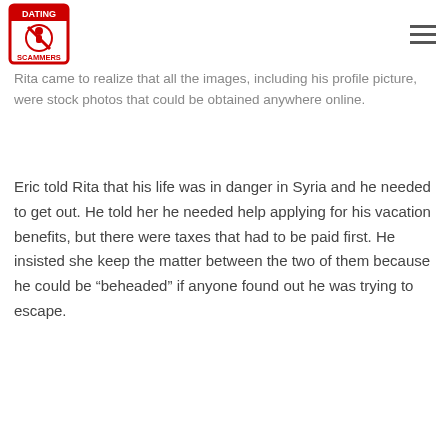Dating Scammers logo and navigation menu
assurances of endearment such as "my dear" and "my darling." Rita came to realize that all the images, including his profile picture, were stock photos that could be obtained anywhere online.
Eric told Rita that his life was in danger in Syria and he needed to get out. He told her he needed help applying for his vacation benefits, but there were taxes that had to be paid first. He insisted she keep the matter between the two of them because he could be “beheaded” if anyone found out he was trying to escape.